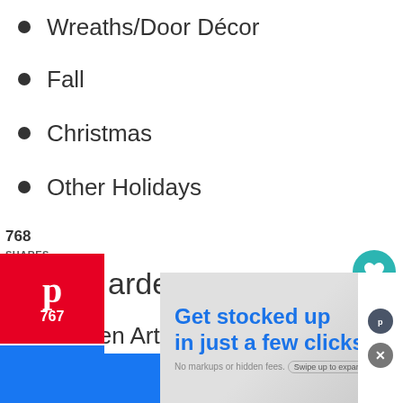Wreaths/Door Decor
Fall
Christmas
Other Holidays
768 SHARES
Garden Projects
Garden Art Flowers
Planters
Wind Chimes
B…
770
WHAT'S NEXT → Plate Flowers and Wind...
Get stocked up in just a few clicks
No markups or hidden fees. Swipe up to expand